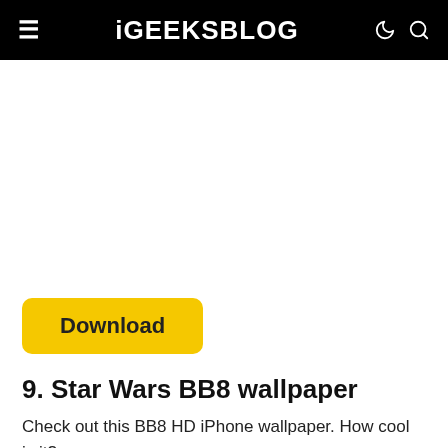iGEEKSBLOG
[Figure (screenshot): Blank white advertisement/image area below the header]
Download
9. Star Wars BB8 wallpaper
Check out this BB8 HD iPhone wallpaper. How cool is it?